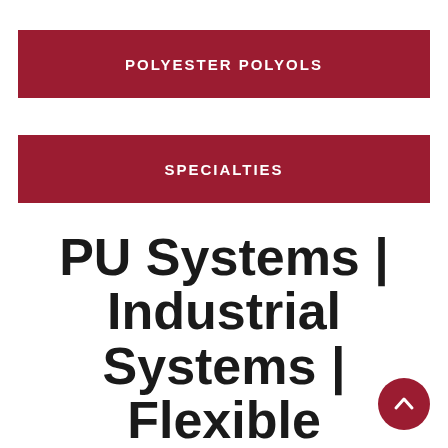POLYESTER POLYOLS
SPECIALTIES
PU Systems | Industrial Systems | Flexible